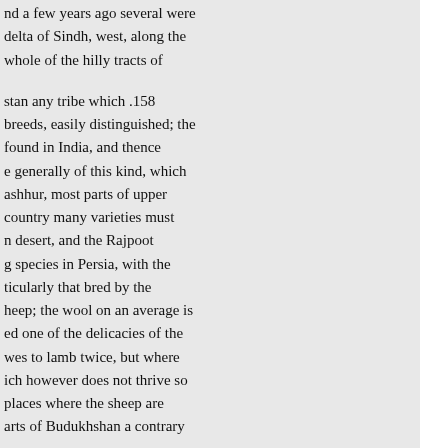and a few years ago several were delta of Sindh, west, along the whole of the hilly tracts of
stan any tribe which .158 breeds, easily distinguished; the found in India, and thence e generally of this kind, which ashhur, most parts of upper country many varieties must n desert, and the Rajpoot g species in Persia, with the ticularly that bred by the heep; the wool on an average is ed one of the delicacies of the wes to lamb twice, but where ich however does not thrive so places where the sheep are arts of Budukhshan a contrary
nsturing. In some countries .159 nd rugged, that sheep cannot e profitable stock. The goats of